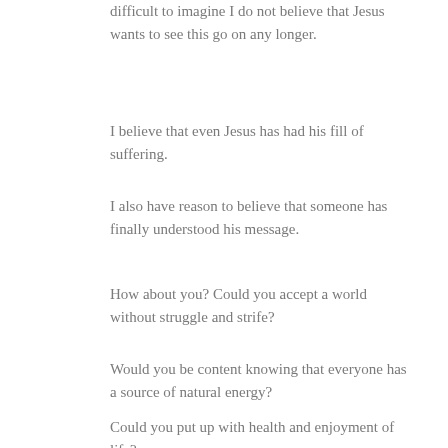difficult to imagine I do not believe that Jesus wants to see this go on any longer.
I believe that even Jesus has had his fill of suffering.
I also have reason to believe that someone has finally understood his message.
How about you? Could you accept a world without struggle and strife?
Would you be content knowing that everyone has a source of natural energy?
Could you put up with health and enjoyment of life?